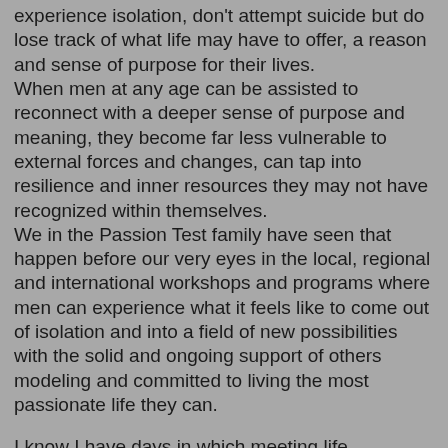experience isolation, don't attempt suicide but do lose track of what life may have to offer, a reason and sense of purpose for their lives.
When men at any age can be assisted to reconnect with a deeper sense of purpose and meaning, they become far less vulnerable to external forces and changes, can tap into resilience and inner resources they may not have recognized within themselves.
We in the Passion Test family have seen that happen before our very eyes in the local, regional and international workshops and programs where men can experience what it feels like to come out of isolation and into a field of new possibilities with the solid and ongoing support of others modeling and committed to living the most passionate life they can.
I know I have days in which meeting life challenges is the last thing I feel up for. It's called “contraction” and just like the tides going in and out, the moon waxing and waning, it's a natural cycle of contraction and expansion. When we repeatedly feel trapped or alone in the waning phase, it can be scary to say so and ask for acknowledgment or help.